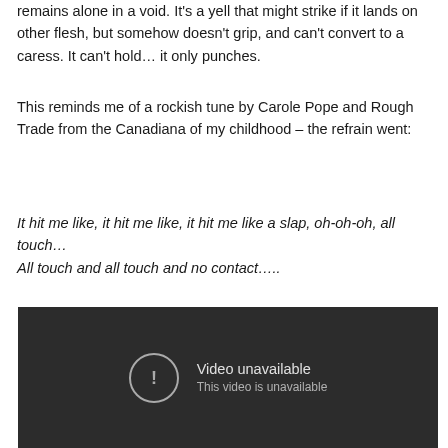remains alone in a void. It's a yell that might strike if it lands on other flesh, but somehow doesn't grip, and can't convert to a caress. It can't hold… it only punches.
This reminds me of a rockish tune by Carole Pope and Rough Trade from the Canadiana of my childhood – the refrain went:
It hit me like, it hit me like, it hit me like a slap, oh-oh-oh, all touch…
All touch and all touch and no contact…..
[Figure (screenshot): Dark video player showing 'Video unavailable / This video is unavailable' message with a circular exclamation mark icon]